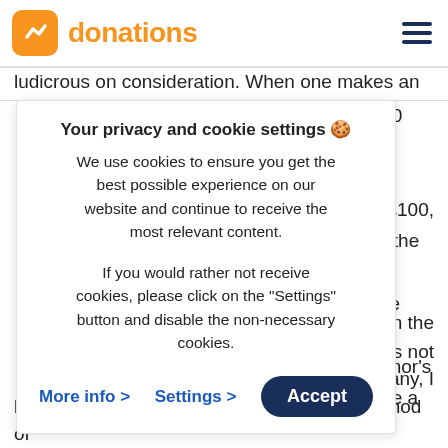donations
ludicrous on consideration. When one makes an
invest £150
have done
ed a £50
y receive £100,
ndraising, the
or the
to compare
om the
ard the donor's
yould make a
Your privacy and cookie settings 🍪
We use cookies to ensure you get the best possible experience on our website and continue to receive the most relevant content.

If you would rather not receive cookies, please click on the "Settings" button and disable the non-necessary cookies.
More info >   Settings >   Accept
ent on the
s is not
e, like many, I
believe it is an ineffective and expensive method of